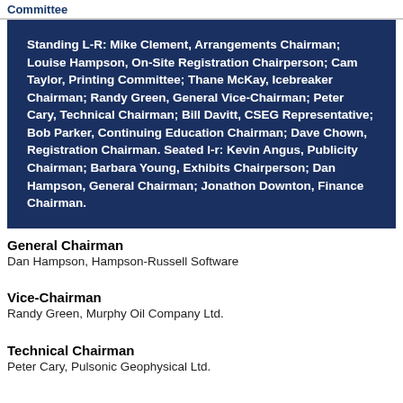Committee
Standing L-R: Mike Clement, Arrangements Chairman; Louise Hampson, On-Site Registration Chairperson; Cam Taylor, Printing Committee; Thane McKay, Icebreaker Chairman; Randy Green, General Vice-Chairman; Peter Cary, Technical Chairman; Bill Davitt, CSEG Representative; Bob Parker, Continuing Education Chairman; Dave Chown, Registration Chairman. Seated l-r: Kevin Angus, Publicity Chairman; Barbara Young, Exhibits Chairperson; Dan Hampson, General Chairman; Jonathon Downton, Finance Chairman.
General Chairman
Dan Hampson, Hampson-Russell Software
Vice-Chairman
Randy Green, Murphy Oil Company Ltd.
Technical Chairman
Peter Cary, Pulsonic Geophysical Ltd.